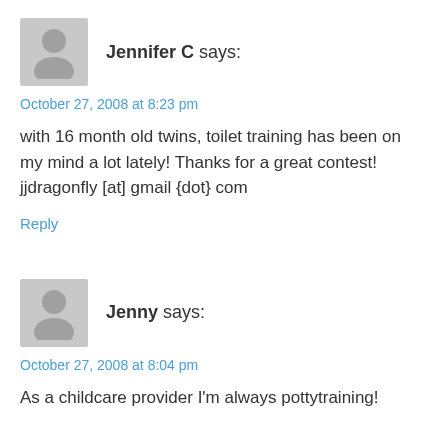[Figure (illustration): Gray avatar placeholder icon showing a silhouette of a person]
Jennifer C says:
October 27, 2008 at 8:23 pm
with 16 month old twins, toilet training has been on my mind a lot lately! Thanks for a great contest! jjdragonfly [at] gmail {dot} com
Reply
[Figure (illustration): Gray avatar placeholder icon showing a silhouette of a person]
Jenny says:
October 27, 2008 at 8:04 pm
As a childcare provider I'm always pottytraining!